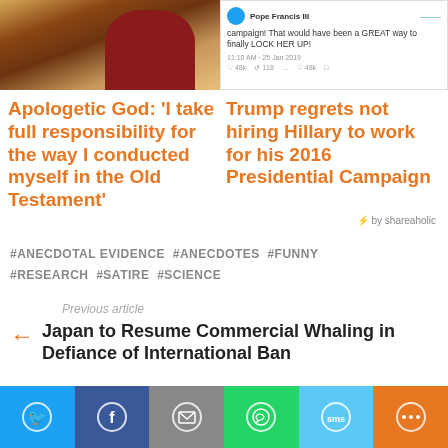[Figure (photo): Top left: painting of a religious figure with reddish robe. Top right: screenshot of a tweet about locking Hillary up during Trump's 2016 campaign.]
Apologetic God: 'I take full responsibility for the way I conducted myself in the Old Testament'
Trump regrets not hiring Hillary to work for his 2016 Presidential Campaign
⚡ by shareaholic
#ANECDOTAL EVIDENCE  #ANECDOTES  #FUNNY  #RESEARCH  #SATIRE  #SCIENCE
Previous article
← Japan to Resume Commercial Whaling in Defiance of International Ban